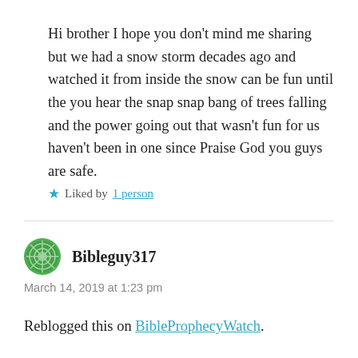Hi brother I hope you don't mind me sharing but we had a snow storm decades ago and watched it from inside the snow can be fun until the you hear the snap snap bang of trees falling and the power going out that wasn't fun for us haven't been in one since Praise God you guys are safe.
★ Liked by 1 person
Bibleguy317
March 14, 2019 at 1:23 pm
Reblogged this on BibleProphecyWatch.